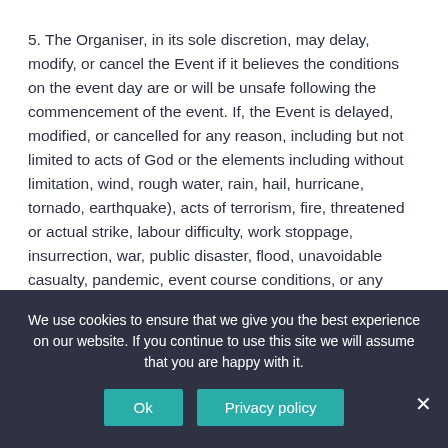5. The Organiser, in its sole discretion, may delay, modify, or cancel the Event if it believes the conditions on the event day are or will be unsafe following the commencement of the event. If, the Event is delayed, modified, or cancelled for any reason, including but not limited to acts of God or the elements including without limitation, wind, rough water, rain, hail, hurricane, tornado, earthquake), acts of terrorism, fire, threatened or actual strike, labour difficulty, work stoppage, insurrection, war, public disaster, flood, unavoidable casualty, pandemic, event course conditions, or any other cause beyond the control of the Organiser there will be no refund of any
We use cookies to ensure that we give you the best experience on our website. If you continue to use this site we will assume that you are happy with it.